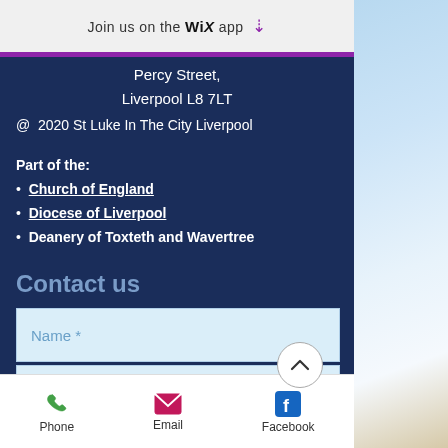Join us on the WiX app ⬇
Percy Street,
Liverpool L8 7LT
@ 2020 St Luke In The City Liverpool
Part of the:
Church of England
Diocese of Liverpool
Deanery of Toxteth and Wavertree
Contact us
Name *
Email *
Phone | Email | Facebook